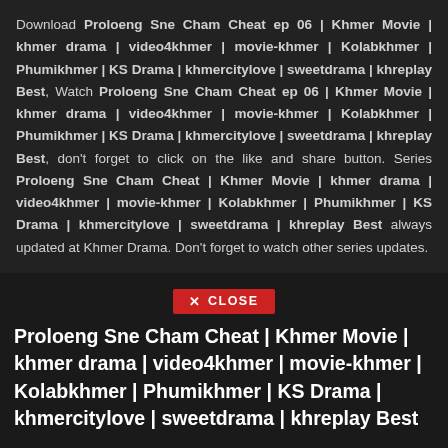Download Proloeng Sne Cham Cheat ep 06 | Khmer Movie | khmer drama | video4khmer | movie-khmer | Kolabkhmer | Phumikhmer | KS Drama | khmercitylove | sweetdrama | khreplay Best, Watch Proloeng Sne Cham Cheat ep 06 | Khmer Movie | khmer drama | video4khmer | movie-khmer | Kolabkhmer | Phumikhmer | KS Drama | khmercitylove | sweetdrama | khreplay Best, don't forget to click on the like and share button. Series Proloeng Sne Cham Cheat | Khmer Movie | khmer drama | video4khmer | movie-khmer | Kolabkhmer | Phumikhmer | KS Drama | khmercitylove | sweetdrama | khreplay Best always updated at Khmer Drama. Don't forget to watch other series updates.
✕ CLOSE
Proloeng Sne Cham Cheat | Khmer Movie | khmer drama | video4khmer | movie-khmer | Kolabkhmer | Phumikhmer | KS Drama | khmercitylove | sweetdrama | khreplay Best
The necklace of Phutesuan causes people to kill one another, because it carries a curse: regardless of the person who has it,
[Figure (photo): Thumbnail image with dark golden/brown tones showing figures and a deer silhouette in a decorative setting]